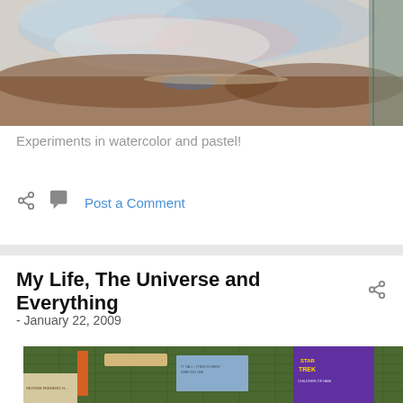[Figure (photo): Watercolor and pastel painting showing abstract landscape with blue, pink, and brown tones]
Experiments in watercolor and pastel!
Post a Comment
My Life, The Universe and Everything
- January 22, 2009
[Figure (photo): Assorted books and items on a green cutting mat, including Star Trek book]